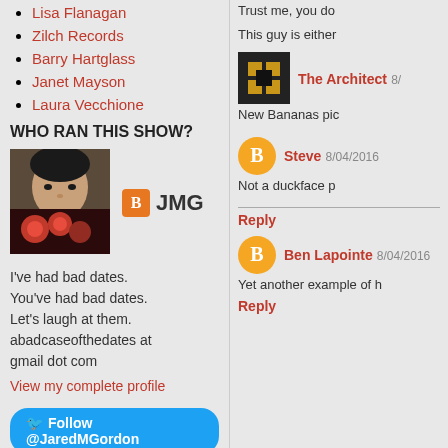Lisa Flanagan
Zilch Records
Barry Hartglass
Janet Mayson
Laura Vecchione
WHO RAN THIS SHOW?
[Figure (photo): Profile photo of person holding red roses]
JMG
I've had bad dates.
You've had bad dates.
Let's laugh at them.
abadcaseofthedates at
gmail dot com
View my complete profile
Follow @JaredMGordon
Trust me, you do
This guy is either
The Architect 8/
New Bananas pic
Steve 8/04/2016
Not a duckface p
Reply
Ben Lapointe 8/04/2016
Yet another example of h
Reply